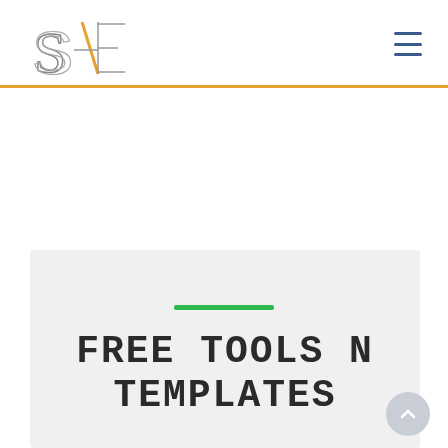SAE logo and navigation header
[Figure (logo): SAE logo — stylized letters S, 4, E with geometric lines in gray and orange]
FREE TOOLS N TEMPLATES